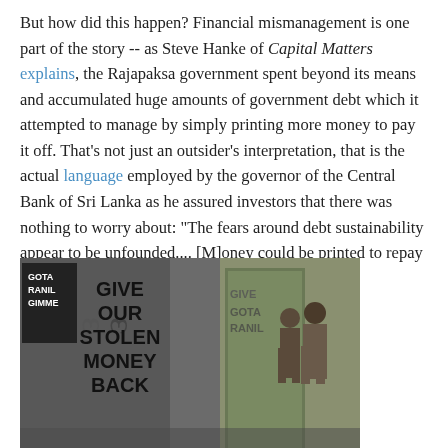But how did this happen? Financial mismanagement is one part of the story -- as Steve Hanke of Capital Matters explains, the Rajapaksa government spent beyond its means and accumulated huge amounts of government debt which it attempted to manage by simply printing more money to pay it off. That's not just an outsider's interpretation, that is the actual language employed by the governor of the Central Bank of Sri Lanka as he assured investors that there was nothing to worry about: "The fears around debt sustainability appear to be unfounded.... [M]oney could be printed to repay them."
[Figure (photo): Photograph of a wall with protest graffiti reading 'GIVE OUR STOLEN MONEY BACK' and other text, with people walking past a green door in the background]